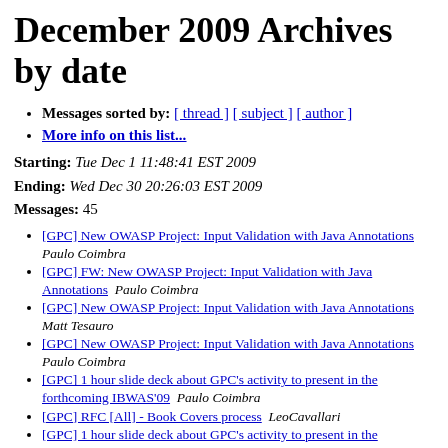December 2009 Archives by date
Messages sorted by: [ thread ] [ subject ] [ author ]
More info on this list...
Starting: Tue Dec 1 11:48:41 EST 2009
Ending: Wed Dec 30 20:26:03 EST 2009
Messages: 45
[GPC] New OWASP Project: Input Validation with Java Annotations  Paulo Coimbra
[GPC] FW: New OWASP Project: Input Validation with Java Annotations  Paulo Coimbra
[GPC] New OWASP Project: Input Validation with Java Annotations  Matt Tesauro
[GPC] New OWASP Project: Input Validation with Java Annotations  Paulo Coimbra
[GPC] 1 hour slide deck about GPC's activity to present in the forthcoming IBWAS'09  Paulo Coimbra
[GPC] RFC [All] - Book Covers process  LeoCavallari
[GPC] 1 hour slide deck about GPC's activity to present in the forthcoming IBWAS'09  LeoCavallari